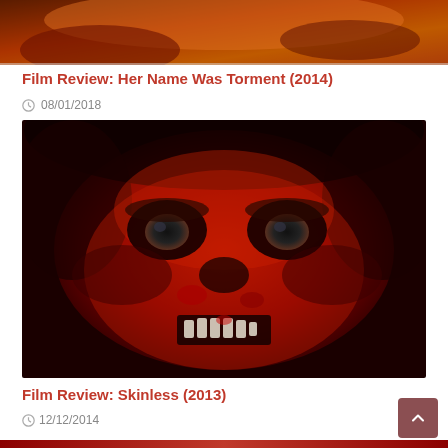[Figure (photo): Top portion of a horror film image, partially cropped, showing orange and red tones at the top]
Film Review: Her Name Was Torment (2014)
08/01/2018
[Figure (photo): Close-up horror image of a grotesque bloody skull-like face with dark eye sockets and exposed teeth, predominantly red and black tones]
Film Review: Skinless (2013)
12/12/2014